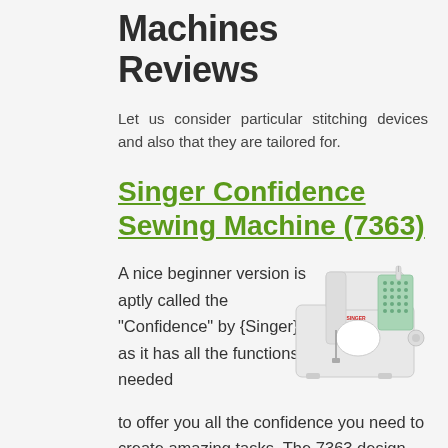Machines Reviews
Let us consider particular stitching devices and also that they are tailored for.
Singer Confidence Sewing Machine (7363)
A nice beginner version is aptly called the “Confidence” by {Singer} as it has all the functions needed to offer you all the confidence you need to create amazing tasks. The 7363 design consists of push-button stitch option, 30
[Figure (photo): Singer Confidence Sewing Machine 7363 - white and mint green sewing machine product photo]